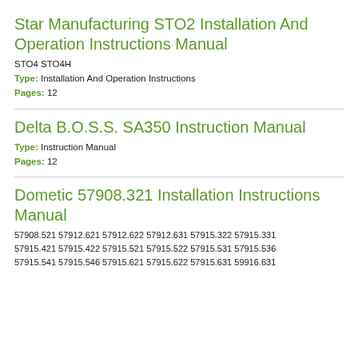Star Manufacturing STO2 Installation And Operation Instructions Manual
STO4 STO4H
Type: Installation And Operation Instructions
Pages: 12
Delta B.O.S.S. SA350 Instruction Manual
Type: Instruction Manual
Pages: 12
Dometic 57908.321 Installation Instructions Manual
57908.521 57912.621 57912.622 57912.631 57915.322 57915.331 57915.421 57915.422 57915.521 57915.522 57915.531 57915.536 57915.541 57915.546 57915.621 57915.622 57915.631 59916.631